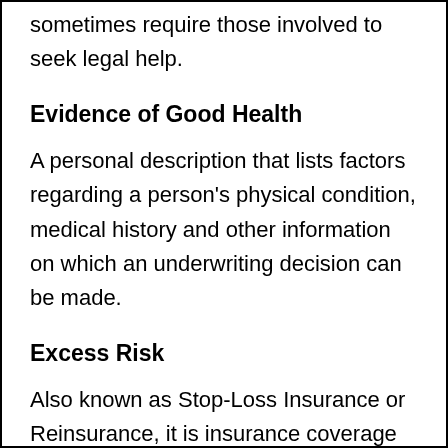sometimes require those involved to seek legal help.
Evidence of Good Health
A personal description that lists factors regarding a person's physical condition, medical history and other information on which an underwriting decision can be made.
Excess Risk
Also known as Stop-Loss Insurance or Reinsurance, it is insurance coverage that takes effect after the initial liability of a claim (specific) or claims (aggregate) has been paid.
Expected Claims